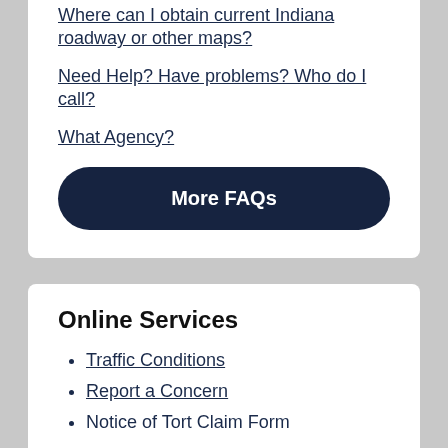Where can I obtain current Indiana roadway or other maps?
Need Help? Have problems? Who do I call?
What Agency?
More FAQs
Online Services
Traffic Conditions
Report a Concern
Notice of Tort Claim Form